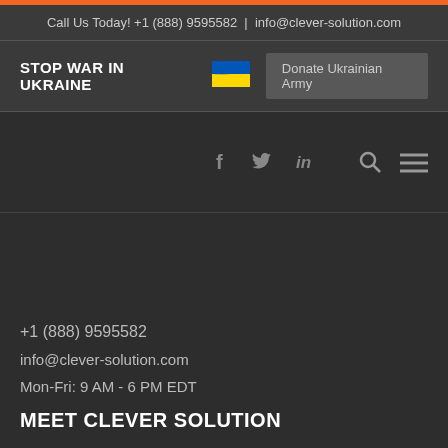Call Us Today! +1 (888) 9595582 | info@clever-solution.com
STOP WAR IN UKRAINE
Donate Ukrainian Army
[Figure (illustration): Ukrainian flag emoji]
[Figure (illustration): Navigation bar with social icons (f, twitter bird, in), search icon, and hamburger menu icon]
+1 (888) 9595582
info@clever-solution.com
Mon-Fri: 9 AM - 6 PM EDT
MEET CLEVER SOLUTION